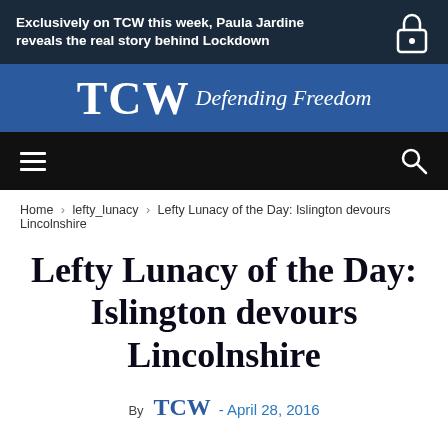Exclusively on TCW this week, Paula Jardine reveals the real story behind Lockdown
[Figure (logo): TCW Defending Freedom logo banner with blue background]
[Figure (screenshot): Navigation bar with hamburger menu and search icon on black background]
Home › lefty_lunacy › Lefty Lunacy of the Day: Islington devours Lincolnshire
Lefty Lunacy of the Day: Islington devours Lincolnshire
By TCW - April 28, 2016